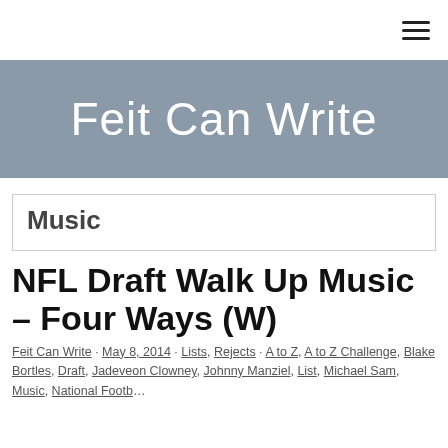Feit Can Write
Music
NFL Draft Walk Up Music – Four Ways (W)
Feit Can Write · May 8, 2014 · Lists, Rejects · A to Z, A to Z Challenge, Blake Bortles, Draft, Jadeveon Clowney, Johnny Manziel, List, Michael Sam, Music, National Football...